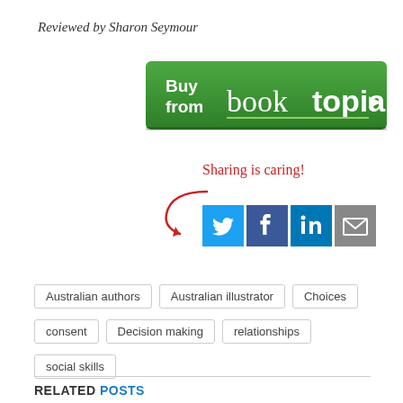Reviewed by Sharon Seymour
[Figure (logo): Booktopia 'Buy from booktopia' green button with white text and right-pointing arrow]
[Figure (infographic): Sharing is caring! text with red cursive font and curved arrow pointing to social media icons: Twitter (blue bird), Facebook (blue f), LinkedIn (blue in), Email (grey envelope)]
Australian authors
Australian illustrator
Choices
consent
Decision making
relationships
social skills
RELATED POSTS